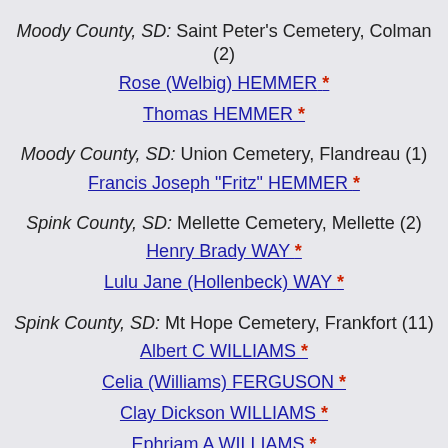Moody County, SD: Saint Peter's Cemetery, Colman (2)
Rose (Welbig) HEMMER *
Thomas HEMMER *
Moody County, SD: Union Cemetery, Flandreau (1)
Francis Joseph "Fritz" HEMMER *
Spink County, SD: Mellette Cemetery, Mellette (2)
Henry Brady WAY *
Lulu Jane (Hollenbeck) WAY *
Spink County, SD: Mt Hope Cemetery, Frankfort (11)
Albert C WILLIAMS *
Celia (Williams) FERGUSON *
Clay Dickson WILLIAMS *
Ephriam A WILLIAMS *
Harry Elmer FERGUSON *